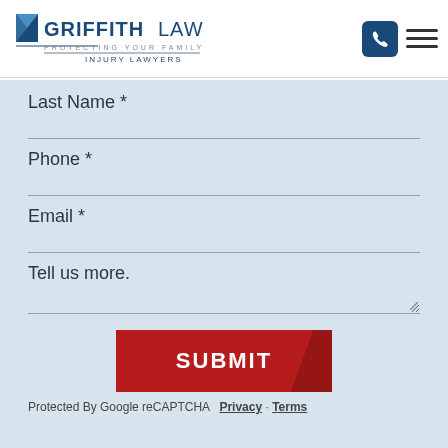[Figure (logo): Griffith Law – Protecting Your Family – Injury Lawyers logo with blue shield icon]
Last Name *
Phone *
Email *
Tell us more.
SUBMIT
Protected By Google reCAPTCHA  Privacy · Terms